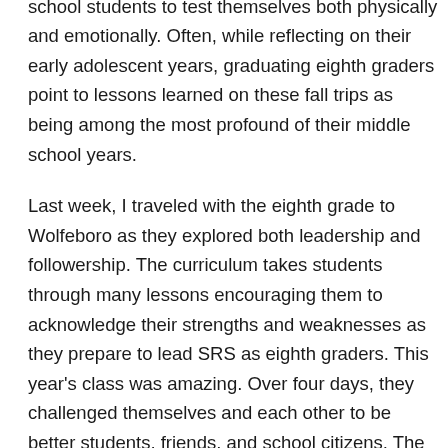trips provide powerful opportunities for middle school students to test themselves both physically and emotionally. Often, while reflecting on their early adolescent years, graduating eighth graders point to lessons learned on these fall trips as being among the most profound of their middle school years.
Last week, I traveled with the eighth grade to Wolfeboro as they explored both leadership and followership. The curriculum takes students through many lessons encouraging them to acknowledge their strengths and weaknesses as they prepare to lead SRS as eighth graders. This year's class was amazing. Over four days, they challenged themselves and each other to be better students, friends, and school citizens. The depth of their discussions at such a young age was impressive. I was struck by how much these teenagers carry on their young shoulders and reminded myself to listen more and talk less.